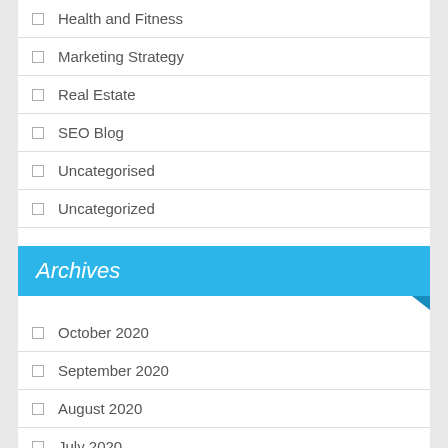Health and Fitness
Marketing Strategy
Real Estate
SEO Blog
Uncategorised
Uncategorized
Archives
October 2020
September 2020
August 2020
July 2020
June 2020
May 2020
April 2020